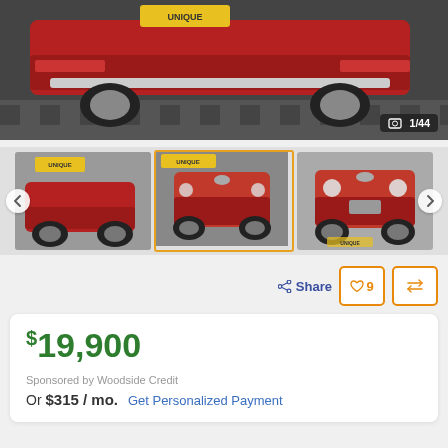[Figure (photo): Red classic Ford Mustang car photographed from the rear/side angle in a showroom with checkered floor tiles. A yellow 'UNIQUE' dealership sign is visible in the background.]
1/44
[Figure (photo): Three thumbnail images of a red classic Ford Mustang. The first thumbnail shows a side/front view, the second (center, highlighted) shows a front-angle view with yellow UNIQUE dealership sign, and the third shows a straight front view.]
Share
♥ 9
$19,900
Sponsored by Woodside Credit
Or $315 / mo.  Get Personalized Payment